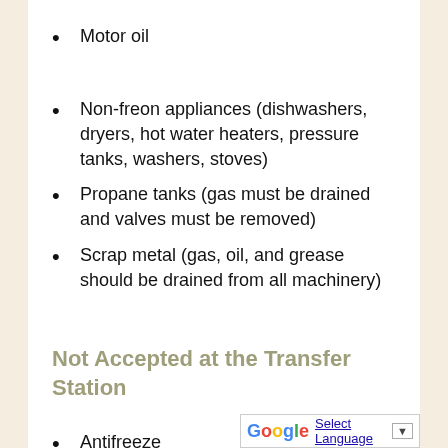Motor oil
Non-freon appliances (dishwashers, dryers, hot water heaters, pressure tanks, washers, stoves)
Propane tanks (gas must be drained and valves must be removed)
Scrap metal (gas, oil, and grease should be drained from all machinery)
Not Accepted at the Transfer Station
Antifreeze
Asphalt